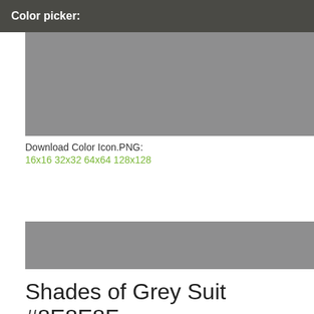Color picker:
[Figure (other): Large grey color swatch (#8E8E8F)]
Download Color Icon.PNG:
16x16 32x32 64x64 128x128
[Figure (other): Medium grey color swatch (#8E8E8F)]
Shades of Grey Suit #8E8E8F
| #8E8E8F | #727272 | #5B5B5B | #494949 | #3A3A3A |
| --- | --- | --- | --- | --- |